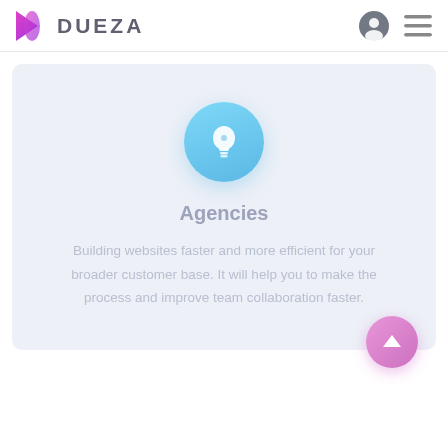DUEZA
[Figure (infographic): Light bulb icon in a blue gradient circle, followed by Agencies heading and descriptive text about building websites for agencies. A pink circular back-to-top arrow button is in the bottom right.]
Agencies
Building websites faster and more efficient for your broader customer base. It will help you to make the process and improve team collaboration faster.